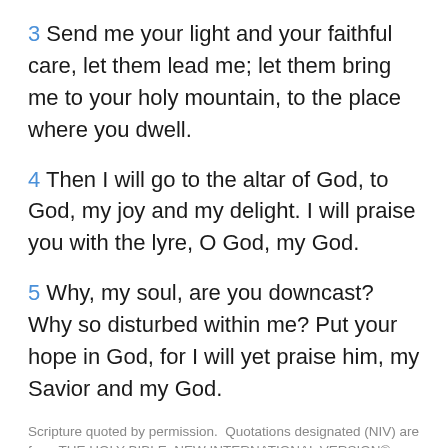3 Send me your light and your faithful care, let them lead me; let them bring me to your holy mountain, to the place where you dwell.
4 Then I will go to the altar of God, to God, my joy and my delight. I will praise you with the lyre, O God, my God.
5 Why, my soul, are you downcast? Why so disturbed within me? Put your hope in God, for I will yet praise him, my Savior and my God.
Scripture quoted by permission.  Quotations designated (NIV) are from THE HOLY BIBLE: NEW INTERNATIONAL VERSION®.  NIV®.  Copyright ©